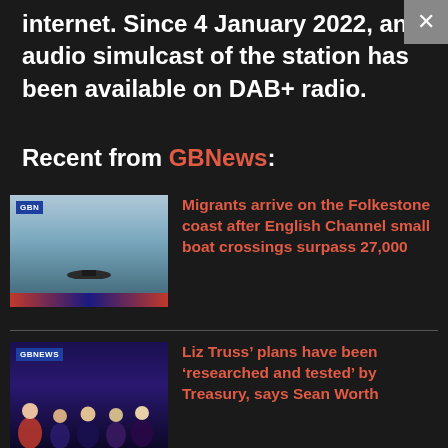internet. Since 4 January 2022, an audio simulcast of the station has been available on DAB+ radio.
Recent from GBNews:
[Figure (photo): GBNews thumbnail showing a small boat in the English Channel with a red and blue strip at the bottom and GBN logo]
Migrants arrive on the Folkestone coast after English Channel small boat crossings surpass 27,000
[Figure (photo): GBNews thumbnail showing people in a studio with purple/blue lighting including Liz Truss]
Liz Truss' plans have been 'researched and tested' by Treasury, says Sean Worth